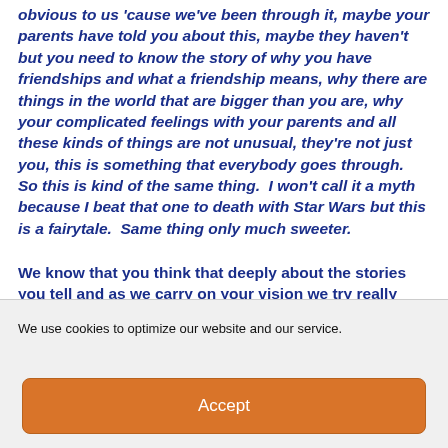obvious to us 'cause we've been through it, maybe your parents have told you about this, maybe they haven't but you need to know the story of why you have friendships and what a friendship means, why there are things in the world that are bigger than you are, why your complicated feelings with your parents and all these kinds of things are not unusual, they're not just you, this is something that everybody goes through.  So this is kind of the same thing.  I won't call it a myth because I beat that one to death with Star Wars but this is a fairytale.  Same thing only much sweeter.
We know that you think that deeply about the stories you tell and as we carry on your vision we try really hard to go that deep with it so it's great to
We use cookies to optimize our website and our service.